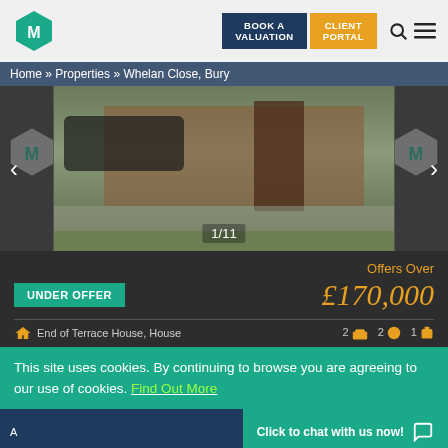[Figure (screenshot): Real estate agency website header with hexagonal logo (M), 'Book a Valuation' dark blue button, 'Client Portal' gold button, search icon and hamburger menu icon]
Home » Properties » Whelan Close, Bury
[Figure (photo): Exterior photo of a terrace house driveway with brick wall, wooden gates, parked Audi car, and garden plants. Counter shows 1/11.]
Offers Over
UNDER OFFER
£170,000
End of Terrace House, House
This site uses cookies. By continuing to browse you are agreeing to our use of cookies. Find Out More
A
Click to chat with us now!